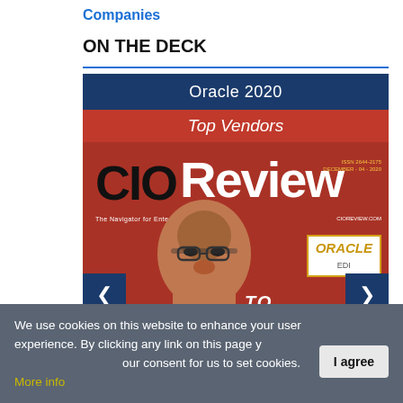Companies
ON THE DECK
[Figure (screenshot): CIO Review magazine cover for Oracle 2020 Top Vendors edition, showing the CIOReview logo on a red background with a person's face and Oracle Edition badge. Navigation arrows on left and right sides.]
We use cookies on this website to enhance your user experience. By clicking any link on this page you are giving your consent for us to set cookies. More info